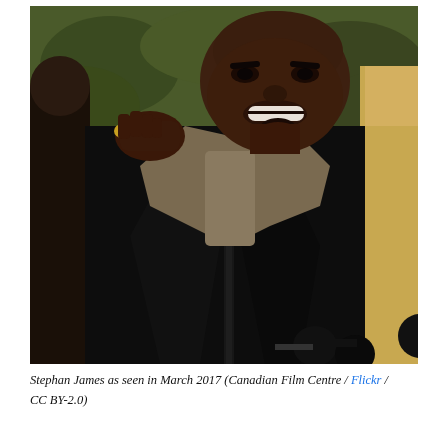[Figure (photo): A smiling man wearing a black leather motorcycle jacket over a brown/khaki hoodie or scarf, with black sunglasses hanging from the jacket collar. Another person's hand rests on his shoulder. Background shows foliage and another person partially visible.]
Stephan James as seen in March 2017 (Canadian Film Centre / Flickr / CC BY-2.0)